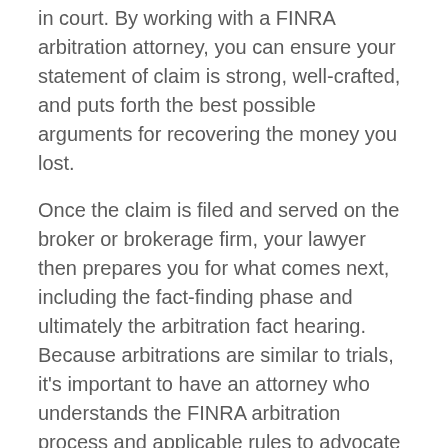in court. By working with a FINRA arbitration attorney, you can ensure your statement of claim is strong, well-crafted, and puts forth the best possible arguments for recovering the money you lost.
Once the claim is filed and served on the broker or brokerage firm, your lawyer then prepares you for what comes next, including the fact-finding phase and ultimately the arbitration fact hearing. Because arbitrations are similar to trials, it's important to have an attorney who understands the FINRA arbitration process and applicable rules to advocate for you effectively throughout the process.
How to Choose the Best FINRA Arbitration Attorney for Your Claim
Many law firms represent investors in FINRA matters. That